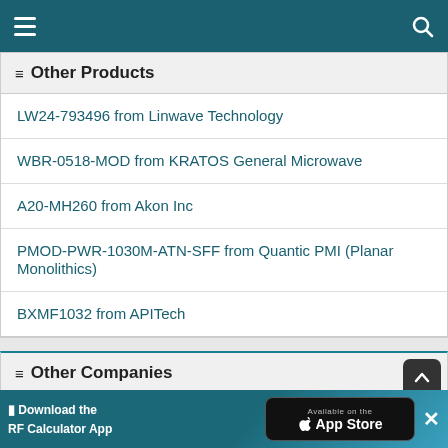Navigation header with menu and search icons
Other Products
LW24-793496 from Linwave Technology
WBR-0518-MOD from KRATOS General Microwave
A20-MH260 from Akon Inc
PMOD-PWR-1030M-ATN-SFF from Quantic PMI (Planar Monolithics)
BXMF1032 from APITech
Other Companies
13 Integrated Microwave Assemblies from Linwave Technology
[Figure (infographic): Download the RF Calculator App — Available on the App Store advertisement banner]